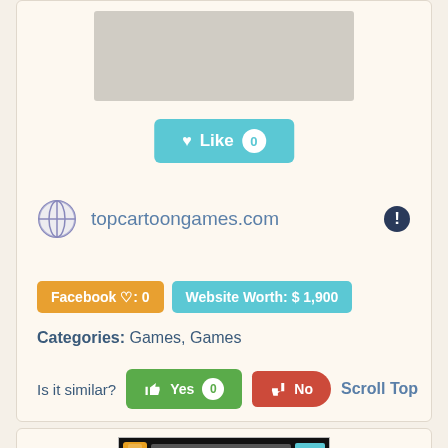[Figure (screenshot): Grey placeholder image rectangle at top of card]
♥ Like 0
topcartoongames.com
Facebook ♡: 0
Website Worth: $ 1,900
Categories: Games, Games
Is it similar?   Yes 0   No   Scroll Top
[Figure (screenshot): Screenshot of a games website (dailyfreegames or similar) showing navigation bar, banner ads, and game thumbnails]